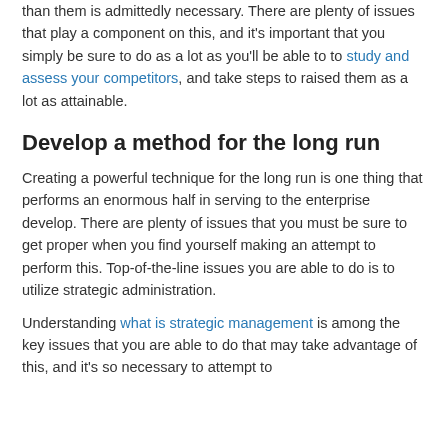than them is admittedly necessary. There are plenty of issues that play a component on this, and it's important that you simply be sure to do as a lot as you'll be able to to study and assess your competitors, and take steps to raised them as a lot as attainable.
Develop a method for the long run
Creating a powerful technique for the long run is one thing that performs an enormous half in serving to the enterprise develop. There are plenty of issues that you must be sure to get proper when you find yourself making an attempt to perform this. Top-of-the-line issues you are able to do is to utilize strategic administration.
Understanding what is strategic management is among the key issues that you are able to do that may take advantage of this, and it's so necessary to attempt to